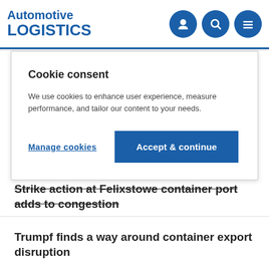Automotive LOGISTICS
Cookie consent
We use cookies to enhance user experience, measure performance, and tailor our content to your needs.
Manage cookies
Accept & continue
Strike action at Felixstowe container port adds to congestion
Trumpf finds a way around container export disruption
Flexibility at production end comes with...